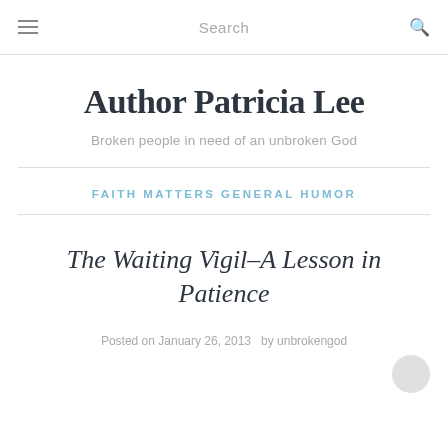Search
Author Patricia Lee
Broken people in need of an unbroken God
FAITH MATTERS GENERAL HUMOR
The Waiting Vigil–A Lesson in Patience
Posted on January 26, 2013  by unbrokengod